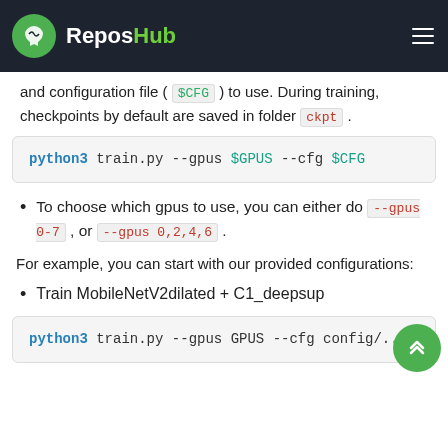ReposHub
and configuration file ( $CFG ) to use. During training, checkpoints by default are saved in folder ckpt .
python3 train.py --gpus $GPUS --cfg $CFG
To choose which gpus to use, you can either do --gpus 0-7 , or --gpus 0,2,4,6 .
For example, you can start with our provided configurations:
Train MobileNetV2dilated + C1_deepsup
python3 train.py --gpus GPUS --cfg config/...